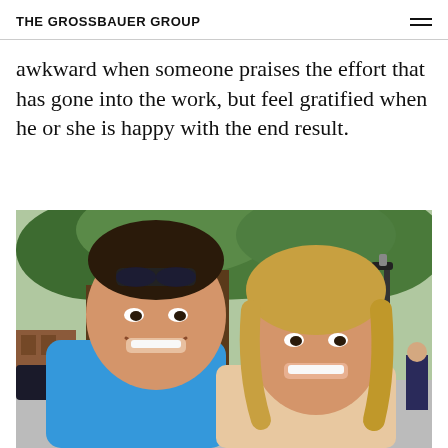THE GROSSBAUER GROUP
awkward when someone praises the effort that has gone into the work, but feel gratified when he or she is happy with the end result.
[Figure (photo): Selfie photo of a smiling man and woman outdoors on a street with trees and buildings in the background. The man wears a blue shirt and has sunglasses on his head; the woman has wavy blonde hair. Another person is visible in the background.]